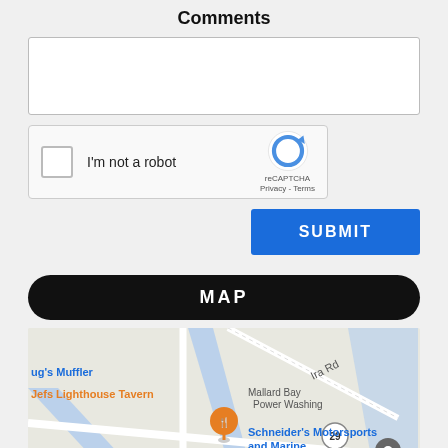Comments
[Figure (screenshot): Text area input field for comments]
[Figure (screenshot): reCAPTCHA widget with checkbox labeled 'I'm not a robot' and reCAPTCHA logo with Privacy and Terms links]
[Figure (screenshot): Blue SUBMIT button]
MAP
[Figure (map): Google Maps screenshot showing local area with landmarks: ug's Muffler, Ira Rd, Jefs Lighthouse Tavern, Mallard Bay Power Washing, Schneider's Motorsports and Marine, view transmission & Auto repair, route 29 marker, bp gas station, Dixie Hwy Fair]